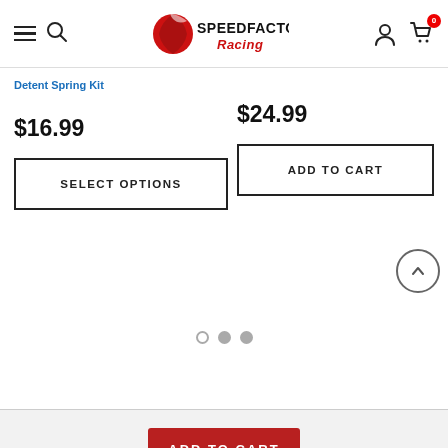SpeedFactory Racing — navigation header with hamburger menu, search, logo, user account, and cart (0 items)
Detent Spring Kit
$16.99
SELECT OPTIONS
$24.99
ADD TO CART
ADD TO CART